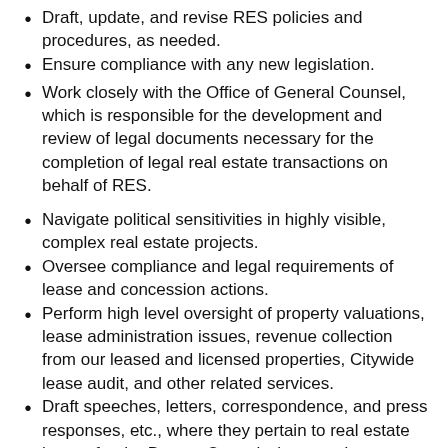Draft, update, and revise RES policies and procedures, as needed.
Ensure compliance with any new legislation.
Work closely with the Office of General Counsel, which is responsible for the development and review of legal documents necessary for the completion of legal real estate transactions on behalf of RES.
Navigate political sensitivities in highly visible, complex real estate projects.
Oversee compliance and legal requirements of lease and concession actions.
Perform high level oversight of property valuations, lease administration issues, revenue collection from our leased and licensed properties, Citywide lease audit, and other related services.
Draft speeches, letters, correspondence, and press responses, etc., where they pertain to real estate issues for the Deputy Commissioner and Commissioner as needed.
Brief senior staff, representatives from the Mayor's